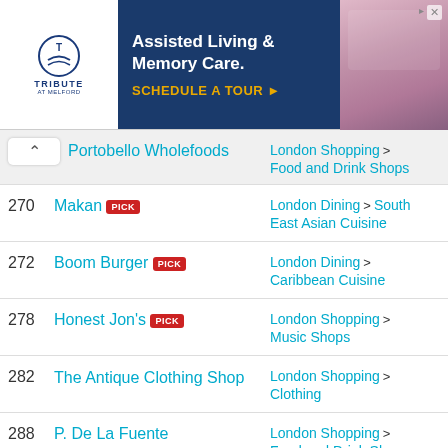[Figure (other): Advertisement banner for Tribute at Melford: Assisted Living & Memory Care. Schedule a Tour.]
Portobello Wholefoods — London Shopping > Food and Drink Shops
270 Makan PICK — London Dining > South East Asian Cuisine
272 Boom Burger PICK — London Dining > Caribbean Cuisine
278 Honest Jon's PICK — London Shopping > Music Shops
282 The Antique Clothing Shop — London Shopping > Clothing
288 P. De La Fuente — London Shopping > Food and Drink Shops
290 The Cloth Shop — London Shopping >